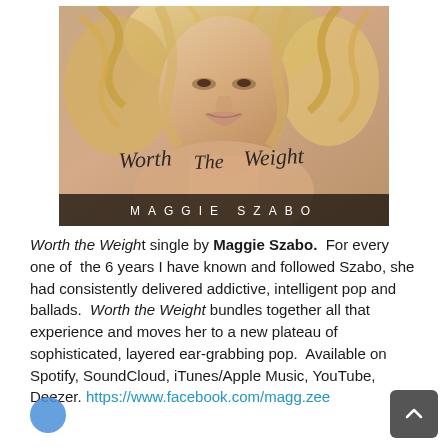[Figure (illustration): Album cover for 'Worth the Weight' by Maggie Szabo. Shows a blonde woman close-up with artistic script text 'Worth The Weight' and 'MAGGIE SZABO' in white spaced letters at the bottom.]
Worth the Weight single by Maggie Szabo. For every one of the 6 years I have known and followed Szabo, she had consistently delivered addictive, intelligent pop and ballads. Worth the Weight bundles together all that experience and moves her to a new plateau of sophisticated, layered ear-grabbing pop. Available on Spotify, SoundCloud, iTunes/Apple Music, YouTube, Deezer. https://www.facebook.com/magg.zee